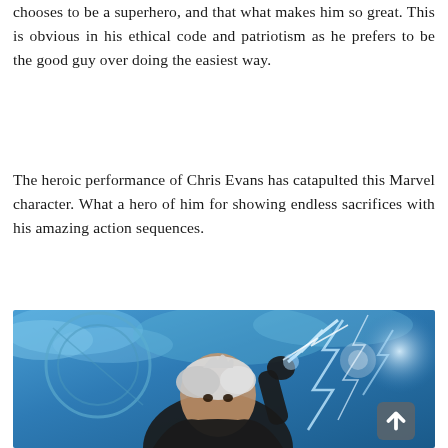chooses to be a superhero, and that what makes him so great. This is obvious in his ethical code and patriotism as he prefers to be the good guy over doing the easiest way.
The heroic performance of Chris Evans has catapulted this Marvel character. What a hero of him for showing endless sacrifices with his amazing action sequences.
[Figure (photo): A female superhero character with short silver/white hair, wearing a black leather outfit, raising one hand with lightning/electricity effects. The background is blue with clouds and a shield-like circular object. The image is from a Marvel X-Men movie (Storm character).]